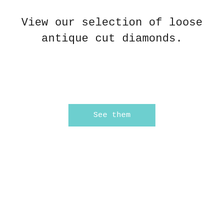View our selection of loose antique cut diamonds.
[Figure (other): A teal/turquoise rectangular button labeled 'See them' in white text]